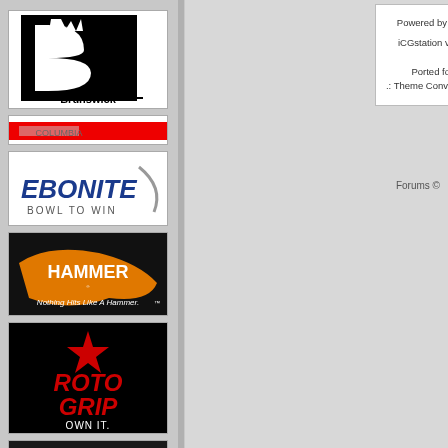[Figure (logo): Brunswick bowling brand logo - black square with stylized B and crown, Brunswick text below]
[Figure (logo): Columbia 300 bowling brand logo - partial view, red and white]
[Figure (logo): Ebonite International bowling brand logo - blue EBONITE text with swoosh, BOWL TO WIN tagline]
[Figure (logo): Hammer bowling brand logo - orange hammer graphic, Nothing Hits Like A Hammer tagline]
[Figure (logo): Roto Grip bowling brand logo - black background, red star, ROTO GRIP text, OWN IT. tagline]
[Figure (logo): Storm bowling brand logo - partial view at bottom]
Powered by phpBB © 2001, 2006 phpBB Group
iCGstation v1.0 Template By Ray © 2003, 2005 iOptional – Ported for PHP-Nuke by nukermods.com .: Theme Converted for Nuke Evolution by RANNIE :.
Forums ©